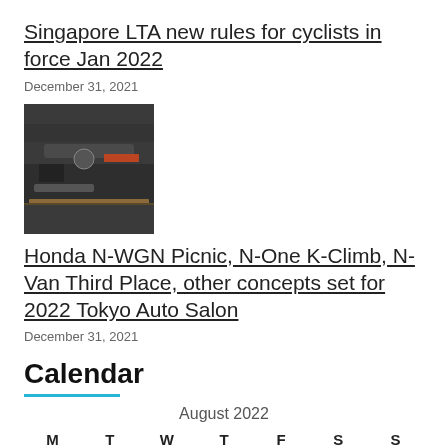Singapore LTA new rules for cyclists in force Jan 2022
December 31, 2021
[Figure (photo): Close-up photo of bicycle or mechanical parts, dark tones]
Honda N-WGN Picnic, N-One K-Climb, N-Van Third Place, other concepts set for 2022 Tokyo Auto Salon
December 31, 2021
Calendar
| M | T | W | T | F | S | S |
| --- | --- | --- | --- | --- | --- | --- |
| 1 | 2 | 3 | 4 | 5 | 6 | 7 |
| 8 | 9 | 10 | 11 | 12 | 13 | 14 |
| 15 | 16 | 17 | 18 | 19 | 20 | 21 |